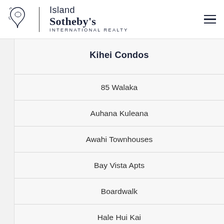[Figure (logo): Island Sotheby's International Realty logo with island silhouette icon]
Kihei Condos
85 Walaka
Auhana Kuleana
Awahi Townhouses
Bay Vista Apts
Boardwalk
Hale Hui Kai
Hale Iliili
Hale Kai O Kihei